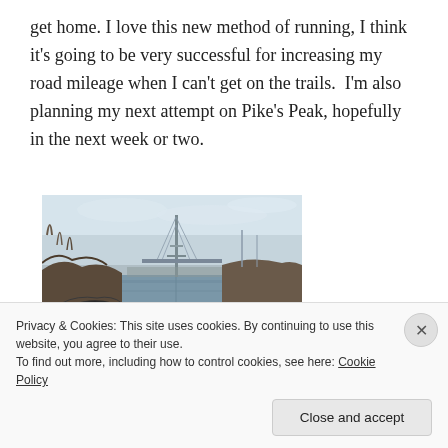get home. I love this new method of running, I think it's going to be very successful for increasing my road mileage when I can't get on the trails.  I'm also planning my next attempt on Pike's Peak, hopefully in the next week or two.
[Figure (photo): Outdoor photo showing a river or waterway with a bridge/tower structure in the background, bare trees on the sides, overcast sky, and a running shoe visible in the foreground lower left.]
Privacy & Cookies: This site uses cookies. By continuing to use this website, you agree to their use.
To find out more, including how to control cookies, see here: Cookie Policy
Close and accept